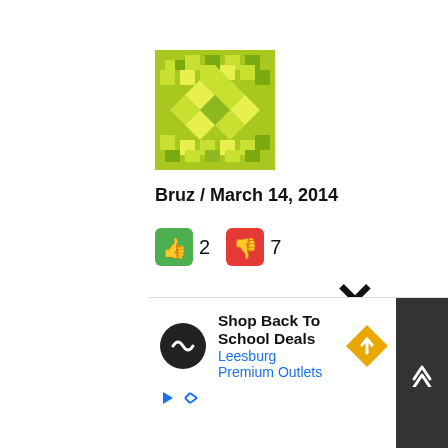[Figure (illustration): Green pixel/mosaic avatar image for user Bruz]
Bruz / March 14, 2014
[Figure (infographic): Thumbs up (green) count: 2, Thumbs down (red) count: 7]
Well, do not blame the police, forces or authorities or Ajith Rohana. They are just doing their duty under the prevailing law of the land. This entire family belongs to a terrorist outfit. The father and the three sons all were Tigers and so are this mother and
[Figure (infographic): Advertisement overlay: Shop Back To School Deals - Leesburg Premium Outlets, with close X button and scroll-up navigation button]